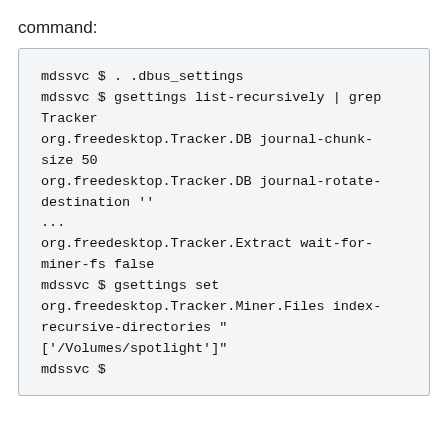command:
mdssvc $ . .dbus_settings
mdssvc $ gsettings list-recursively | grep Tracker
org.freedesktop.Tracker.DB journal-chunk-size 50
org.freedesktop.Tracker.DB journal-rotate-destination ''
...
org.freedesktop.Tracker.Extract wait-for-miner-fs false
mdssvc $ gsettings set org.freedesktop.Tracker.Miner.Files index-recursive-directories "['/Volumes/spotlight']"
mdssvc $